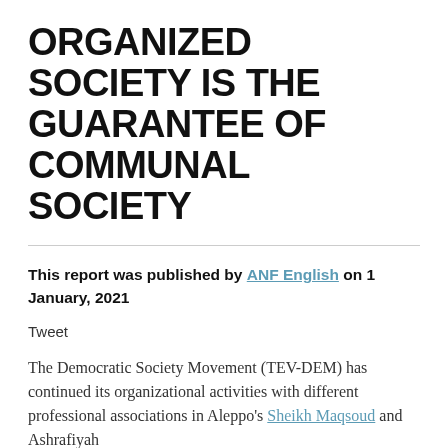ORGANIZED SOCIETY IS THE GUARANTEE OF COMMUNAL SOCIETY
This report was published by ANF English on 1 January, 2021
Tweet
The Democratic Society Movement (TEV-DEM) has continued its organizational activities with different professional associations in Aleppo's Sheikh Maqsoud and Ashrafiyah